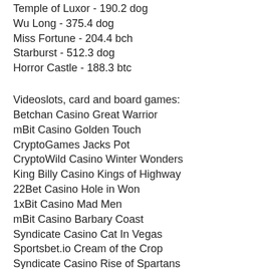Temple of Luxor - 190.2 dog
Wu Long - 375.4 dog
Miss Fortune - 204.4 bch
Starburst - 512.3 dog
Horror Castle - 188.3 btc
Videoslots, card and board games:
Betchan Casino Great Warrior
mBit Casino Golden Touch
CryptoGames Jacks Pot
CryptoWild Casino Winter Wonders
King Billy Casino Kings of Highway
22Bet Casino Hole in Won
1xBit Casino Mad Men
mBit Casino Barbary Coast
Syndicate Casino Cat In Vegas
Sportsbet.io Cream of the Crop
Syndicate Casino Rise of Spartans
22Bet Casino Cutie Cat
Diamond Reels Casino Kung fu Furry